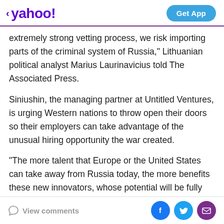yahoo! | Get App
extremely strong vetting process, we risk importing parts of the criminal system of Russia," Lithuanian political analyst Marius Laurinavicius told The Associated Press.
Siniushin, the managing partner at Untitled Ventures, is urging Western nations to throw open their doors so their employers can take advantage of the unusual hiring opportunity the war created.
“The more talent that Europe or the United States can take away from Russia today, the more benefits these new innovators, whose potential will be fully realized abroad, will bring to other countries,” he said.
View comments | Facebook | Twitter | Email